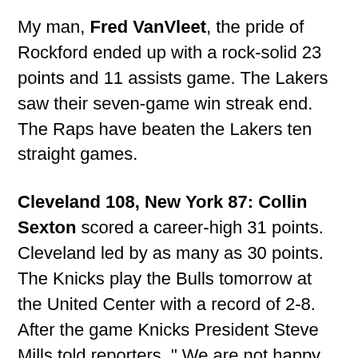My man, Fred VanVleet, the pride of Rockford ended up with a rock-solid 23 points and 11 assists game. The Lakers saw their seven-game win streak end. The Raps have beaten the Lakers ten straight games.
Cleveland 108, New York 87: Collin Sexton scored a career-high 31 points. Cleveland led by as many as 30 points. The Knicks play the Bulls tomorrow at the United Center with a record of 2-8. After the game Knicks President Steve Mills told reporters, " We are not happy where we are."